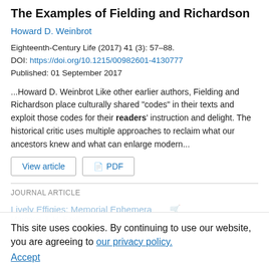The Examples of Fielding and Richardson
Howard D. Weinbrot
Eighteenth-Century Life (2017) 41 (3): 57–88.
DOI: https://doi.org/10.1215/00982601-4130777
Published: 01 September 2017
...Howard D. Weinbrot Like other earlier authors, Fielding and Richardson place culturally shared "codes" in their texts and exploit those codes for their readers' instruction and delight. The historical critic uses multiple approaches to reclaim what our ancestors knew and what can enlarge modern...
JOURNAL ARTICLE
Lively Effigies: Memorial Ephemera
Margaret J. M. Ezell
Eighteenth-Century Life (2020) 44 (2): 136–157.
DOI: https://doi.org/10.1215/00982601-8218635
This site uses cookies. By continuing to use our website, you are agreeing to our privacy policy. Accept